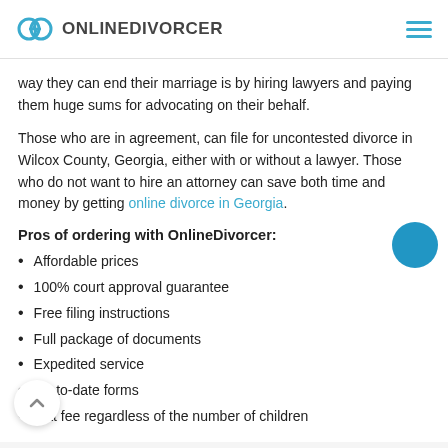ONLINEDIVORCER
way they can end their marriage is by hiring lawyers and paying them huge sums for advocating on their behalf.
Those who are in agreement, can file for uncontested divorce in Wilcox County, Georgia, either with or without a lawyer. Those who do not want to hire an attorney can save both time and money by getting online divorce in Georgia.
Pros of ordering with OnlineDivorcer:
Affordable prices
100% court approval guarantee
Free filing instructions
Full package of documents
Expedited service
Up-to-date forms
Flat fee regardless of the number of children